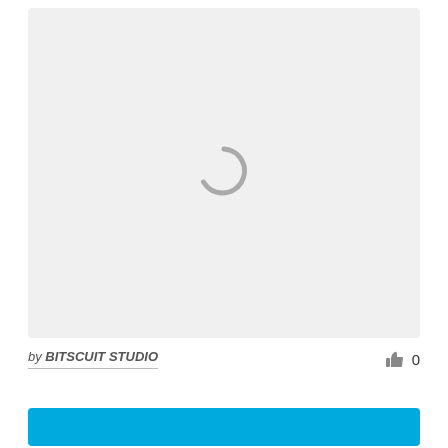[Figure (screenshot): Loading spinner (partial circle arc) centered on a light gray card background]
by BITSCUIT STUDIO
[Figure (illustration): Thumbs up icon with count 0]
[Figure (illustration): Blue button/bar at bottom of page]